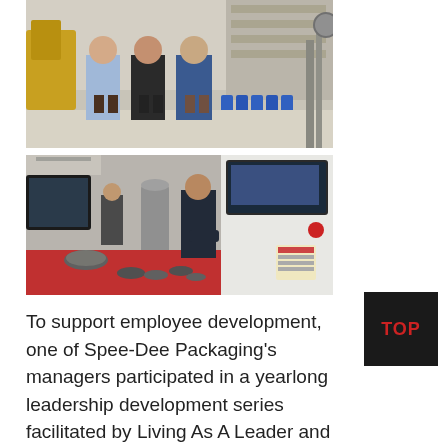[Figure (photo): Three men standing side by side in a manufacturing or warehouse facility with equipment and blue containers in the background.]
[Figure (photo): A worker operating a CNC machine in a manufacturing shop; metal parts and a red surface visible in the foreground.]
To support employee development, one of Spee-Dee Packaging's managers participated in a yearlong leadership development series facilitated by Living As A Leader and so